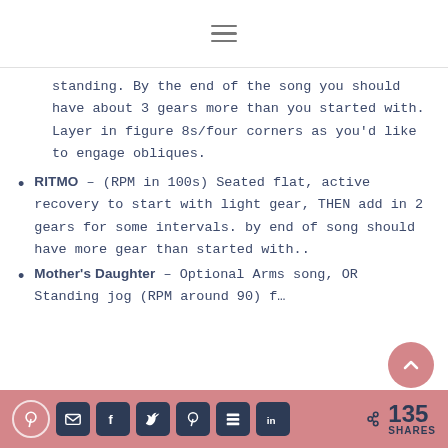≡
standing. By the end of the song you should have about 3 gears more than you started with. Layer in figure 8s/four corners as you'd like to engage obliques.
RITMO – (RPM in 100s) Seated flat, active recovery to start with light gear, THEN add in 2 gears for some intervals. by end of song should have more gear than started with..
Mother's Daughter – Optional Arms song, OR Standing jog (RPM around 90) f...
135 SHARES